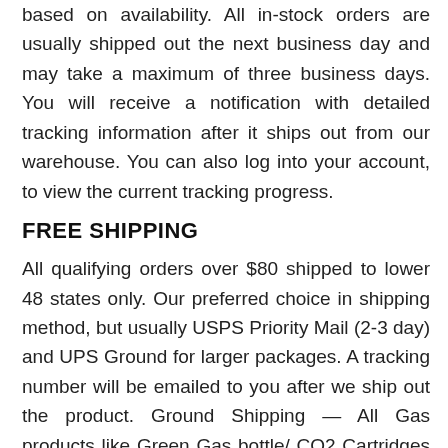based on availability. All in-stock orders are usually shipped out the next business day and may take a maximum of three business days. You will receive a notification with detailed tracking information after it ships out from our warehouse. You can also log into your account, to view the current tracking progress.
FREE SHIPPING
All qualifying orders over $80 shipped to lower 48 states only. Our preferred choice in shipping method, but usually USPS Priority Mail (2-3 day) and UPS Ground for larger packages. A tracking number will be emailed to you after we ship out the product. Ground Shipping — All Gas products like Green Gas bottle/ CO2 Cartridges will be shipped out via Ground Shipping option only. USPS Priority: All orders placed by 1 pm CST usually go out the same-day. Orders placed after 1 pm CST go out the next business day. All weekend orders shipped